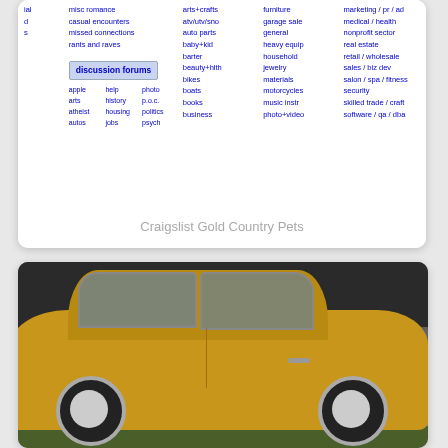[Figure (screenshot): Craigslist website screenshot showing navigation links including casual encounters, missed connections, rants and raves, discussion forums section with apple/arts/atheist/autos/help/history/housing/jobs/photo/p.o.c./politics/psych links, and for sale categories including atv/utv/sno, auto parts, baby+kid, barter, beauty+hlth, bikes, boats, books, business and garage sale, general, heavy equip, household, jewelry, materials, motorcycles, music instr, photo+video and marketing/pr/ad, medical/health, nonprofit sector, real estate, retail/wholesale, sales/biz dev, salon/spa/fitness, security, skilled trade/craft, software/qa/dba]
Craigslist Gold Country Pets
[Figure (photo): Photo of a vintage gold/yellow colored car (classic American sedan) parked outdoors against a dark wooden wall, with grass visible on the ground. The car appears to be from the 1970s era.]